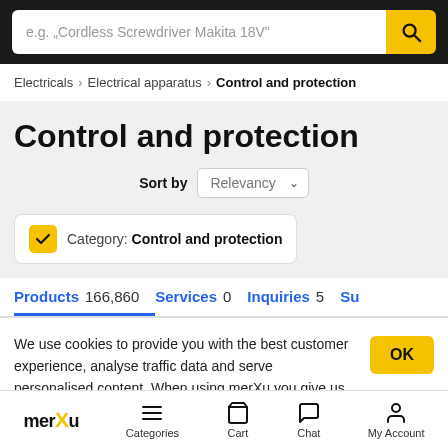[Figure (screenshot): Search bar with placeholder text 'e.g. "Cordless Screwdriver Makita 18V"' and yellow search button]
Electricals › Electrical apparatus › Control and protection
Control and protection
Sort by Relevancy
Category: Control and protection
Products 166,860   Services 0   Inquiries 5   Su
We use cookies to provide you with the best customer experience, analyse traffic data and serve personalised content. When using merXu you give us consent to use cookies. You can find
[Figure (logo): merXu logo with yellow X]
Categories   Cart   Chat   My Account